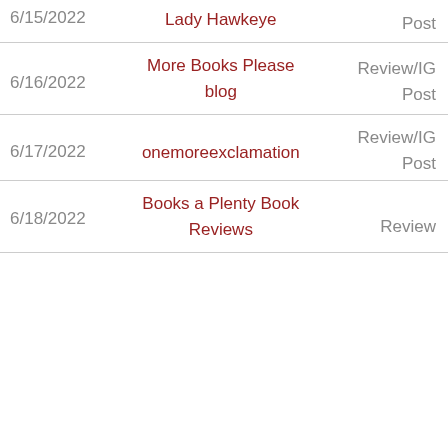| Date | Source | Type |
| --- | --- | --- |
| 6/15/2022 | Lady Hawkeye | Post |
| 6/16/2022 | More Books Please blog | Review/IG Post |
| 6/17/2022 | onemoreexclamation | Review/IG Post |
| 6/18/2022 | Books a Plenty Book Reviews | Review |